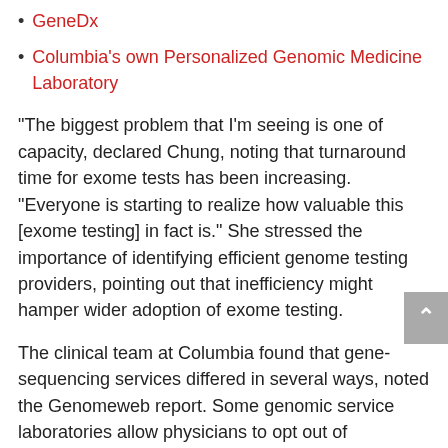GeneDx
Columbia's own Personalized Genomic Medicine Laboratory
“The biggest problem that I’m seeing is one of capacity, declared Chung, noting that turnaround time for exome tests has been increasing. “Everyone is starting to realize how valuable this [exome testing] in fact is.” She stressed the importance of identifying efficient genome testing providers, pointing out that inefficiency might hamper wider adoption of exome testing.
The clinical team at Columbia found that gene-sequencing services differed in several ways, noted the Genomeweb report. Some genomic service laboratories allow physicians to opt out of secondary findings, which Chung noted is a preference of many Orthodox Jewish patients. Other labs offer to re-analyze data after a period of time because of new research that might now link additional mutations to the disease. She said this